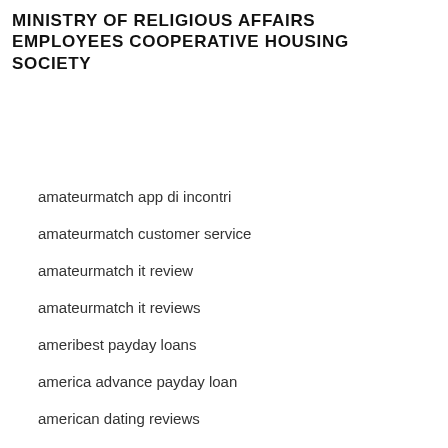MINISTRY OF RELIGIOUS AFFAIRS EMPLOYEES COOPERATIVE HOUSING SOCIETY
amateurmatch app di incontri
amateurmatch customer service
amateurmatch it review
amateurmatch it reviews
ameribest payday loans
america advance payday loan
american dating reviews
American Dating Sites i migliori siti per single
american payday loans
Amerikaanse Datingsites telefoonnummer